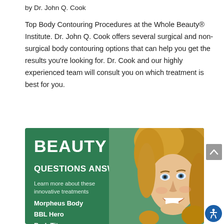by Dr. John Q. Cook
Top Body Contouring Procedures at the Whole Beauty® Institute. Dr. John Q. Cook offers several surgical and non-surgical body contouring options that can help you get the results you're looking for. Dr. Cook and our highly experienced team will consult you on which treatment is best for you.
[Figure (illustration): Advertisement banner with green background showing bold text 'BEAUTY GOALS' and 'QUESTIONS ANSWERED', subtext 'Learn more about these innovative treatments', list items: Morpheus Body, BBL Hero, BodyTite, and a smiling woman with curly blonde hair on the right side.]